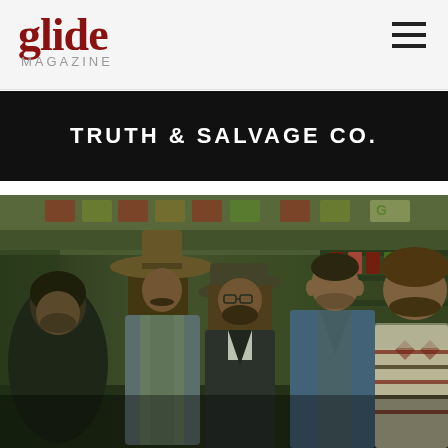glide MAGAZINE
TRUTH & SALVAGE CO.
[Figure (photo): A group of five men standing inside what appears to be a convenience store or shop. The man in the center-left wears a wide-brimmed brown cowboy hat and a denim vest. The man next to him wears glasses and a hat. Others wear casual jackets and sweaters. The photo has a warm, vintage green tint. Store displays and Gatorade/Coca-Cola signage visible in background.]